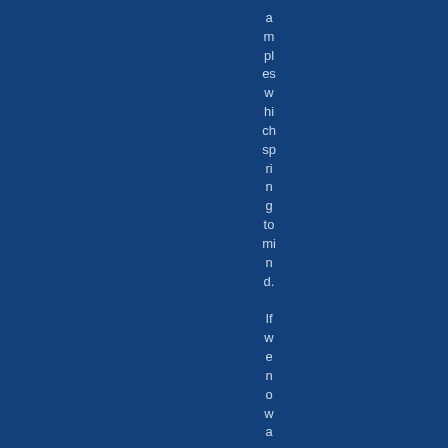amples which spring to mind. If we now agree that we